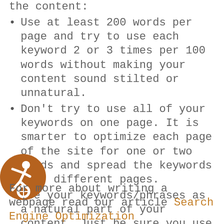the content:
Use at least 200 words per page and try to use each keyword 2 or 3 times per 100 words without making your content sound stilted or unnatural.
Don't try to use all of your keywords on one page. It is smarter to optimize each page of the site for one or two words and spread the keywords over different pages.
Use your keywords/phrases as a natural part of your content. Just be sure you use them.
Highlight (bold) keywords in sentences where applicable
For more about writing a webpage read our article Search Engine Optimization